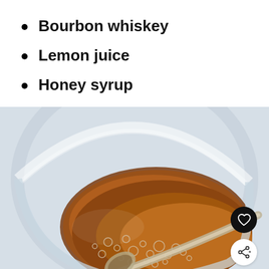Bourbon whiskey
Lemon juice
Honey syrup
[Figure (photo): Close-up overhead view of a rounded glass with amber-colored bourbon cocktail, bubbles, and a silver spoon resting inside the glass, on a light background.]